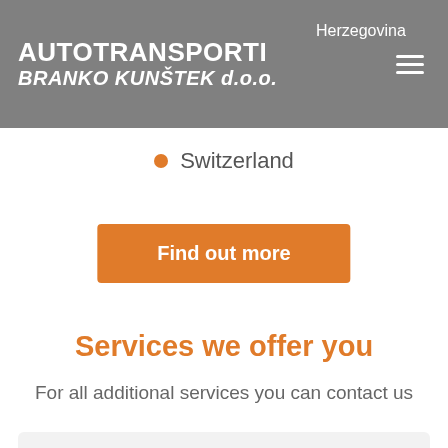AUTOTRANSPORTI BRANKO KUNŠTEK d.o.o.
Switzerland
Find out more
Services we offer you
For all additional services you can contact us
[Figure (illustration): A store/shop building icon drawn in orange outline style, partially visible at the bottom of the page.]